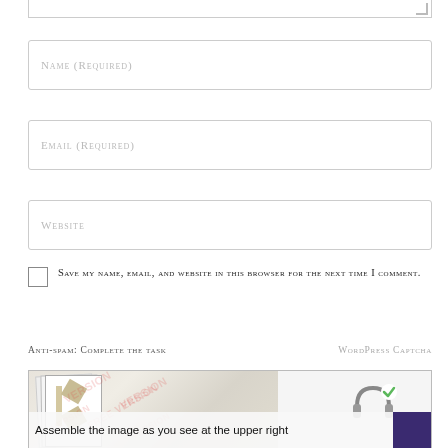[Figure (screenshot): Partial bottom of a textarea input field with resize handle in lower right corner]
Name (Required)
Email (Required)
Website
Save my name, email, and website in this browser for the next time I comment.
Anti-spam: Complete the task
WordPress Captcha
[Figure (screenshot): WordPress CAPTCHA widget showing a puzzle image to assemble with an audio/headphone option and a green checkmark, plus the instruction text 'Assemble the image as you see at the upper right corner']